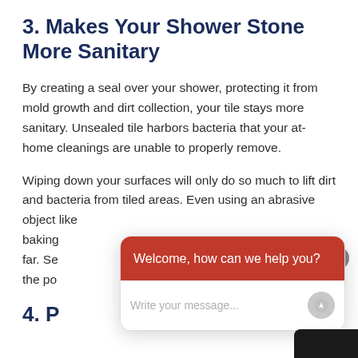3. Makes Your Shower Stone More Sanitary
By creating a seal over your shower, protecting it from mold growth and dirt collection, your tile stays more sanitary. Unsealed tile harbors bacteria that your at-home cleanings are unable to properly remove.
Wiping down your surfaces will only do so much to lift dirt and bacteria from tiled areas. Even using an abrasive object like baking soda to lift dirt and clean your stone only goes so far. Sealing the stone is the only way to truly close off the pores…
4. P…
[Figure (screenshot): Chat widget overlay with red header saying 'Welcome, how can we help you?' and a text input area below with placeholder 'Write your message...' and a send button. A close (X) button appears in the upper right of the overlay.]